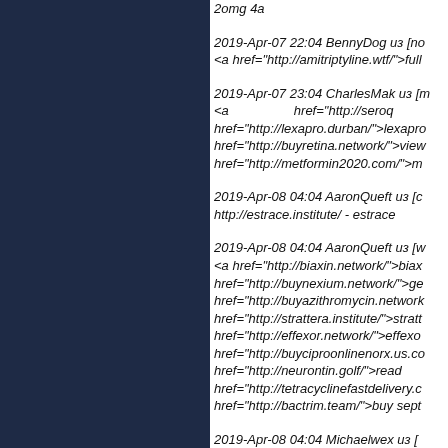2omg 4a
2019-Apr-07 22:04 BennyDog из [no <a href="http://amitriptyline.wtf/">full
2019-Apr-07 23:04 CharlesMak из [m <a href="http://seroq href="http://lexapro.durban/">lexapr href="http://buyretina.network/">view href="http://metformin2020.com/">m
2019-Apr-08 04:04 AaronQueft из [c http://estrace.institute/ - estrace
2019-Apr-08 04:04 AaronQueft из [w <a href="http://biaxin.network/">biax href="http://buynexium.network/">ge href="http://buyazithromycin.network href="http://strattera.institute/">stratt href="http://effexor.network/">effexo href="http://buyciproonlinenorx.us.co href="http://neurontin.golf/">read href="http://tetracyclinefastdelivery.c href="http://bactrim.team/">buy sept
2019-Apr-08 04:04 Michaelwex из [